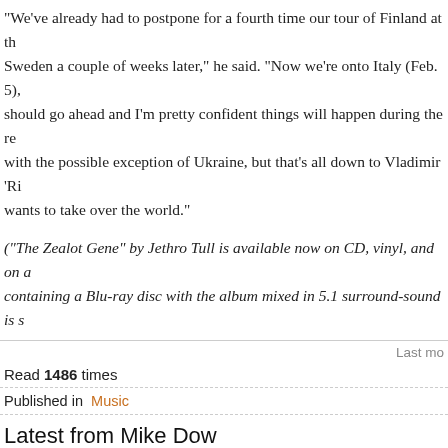“We’ve already had to postpone for a fourth time our tour of Finland at th… Sweden a couple of weeks later,” he said. “Now we’re onto Italy (Feb. 5), should go ahead and I’m pretty confident things will happen during the re… with the possible exception of Ukraine, but that’s all down to Vladimir ‘Ri… wants to take over the world.”
(“The Zealot Gene” by Jethro Tull is available now on CD, vinyl, and on a… containing a Blu-ray disc with the album mixed in 5.1 surround-sound is s…
Last mo…
Read 1486 times
Published in  Music
Latest from Mike Dow
Colin Hay of Men at Work on his latest LP, the ghost of Elvis, and touring with Ri…
‘My Life as a Rolling Stone’ director Oliver Murray: ‘It was fantastic, but terrifying’
Genuine comedy: Annick Adelle’s ‘Between Two Worlds’
Some Theatre Company wants you in the audience for ‘Every Brilliant Thing’
Original VJ Nina Blackwood: ‘If MTV were just starting today, I’d probably have to…